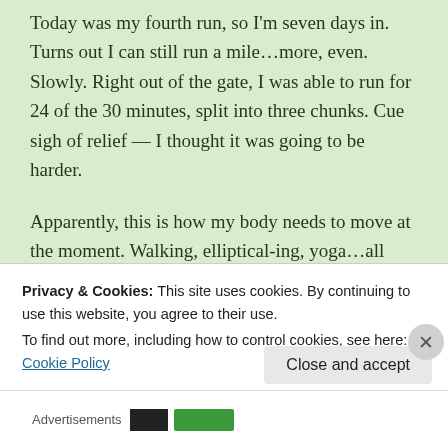Today was my fourth run, so I'm seven days in. Turns out I can still run a mile…more, even. Slowly. Right out of the gate, I was able to run for 24 of the 30 minutes, split into three chunks. Cue sigh of relief — I thought it was going to be harder.
Apparently, this is how my body needs to move at the moment. Walking, elliptical-ing, yoga…all good, but yoga's the only one that makes me want to get out of bed in the morning, and that's only once a week (for now). This morning, I completely ignored the snooze button.
Privacy & Cookies: This site uses cookies. By continuing to use this website, you agree to their use.
To find out more, including how to control cookies, see here: Cookie Policy
Close and accept
Advertisements